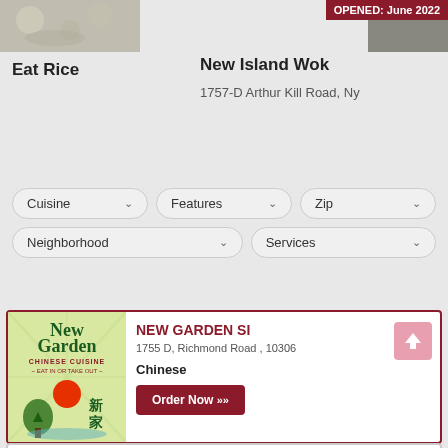[Figure (photo): Partial image of restaurant or food on left side, top of page]
OPENED: June 2022
Eat Rice
New Island Wok
1757-D Arthur Kill Road, Ny
Cuisine
Features
Zip
Neighborhood
Services
[Figure (logo): New Garden Chinese Cuisine restaurant logo with pagoda and sun imagery]
NEW GARDEN SI
1755 D, Richmond Road , 10306
Chinese
Order Now »